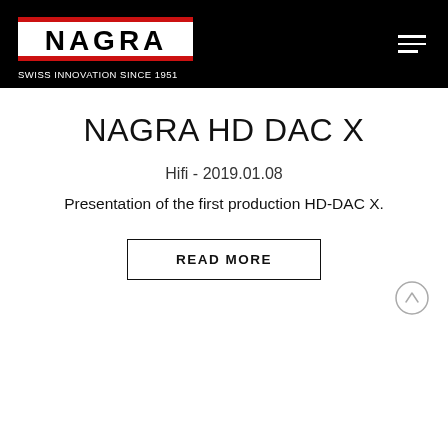NAGRA — SWISS INNOVATION SINCE 1951
NAGRA HD DAC X
Hifi - 2019.01.08
Presentation of the first production HD-DAC X.
READ MORE